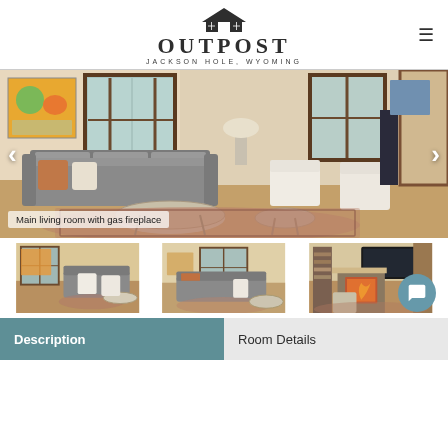[Figure (logo): Outpost Jackson Hole Wyoming logo with building icon]
[Figure (photo): Main living room with gas fireplace — large carousel photo showing gray sofa, chairs, patterned rug, artwork on wall, windows]
Main living room with gas fireplace
[Figure (photo): Thumbnail 1: living room angle showing sofa and coffee table]
[Figure (photo): Thumbnail 2: living room wider angle with rug]
[Figure (photo): Thumbnail 3: room with fireplace and mounted TV]
Description
Room Details